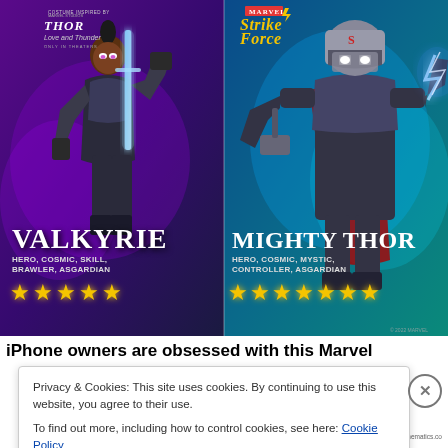[Figure (illustration): Marvel Strike Force promotional banner featuring Valkyrie (left, dark/purple background, holding a glowing sword, 5 gold stars, HERO COSMIC SKILL BRAWLER ASGARDIAN tags) and Mighty Thor (right, blue/teal background, lightning effects, 7 gold stars, HERO COSMIC MYSTIC CONTROLLER ASGARDIAN tags). Top left shows Thor: Love and Thunder co-branding; top center shows Marvel Strike Force logo.]
iPhone owners are obsessed with this Marvel
Privacy & Cookies: This site uses cookies. By continuing to use this website, you agree to their use.
To find out more, including how to control cookies, see here: Cookie Policy
Close and accept